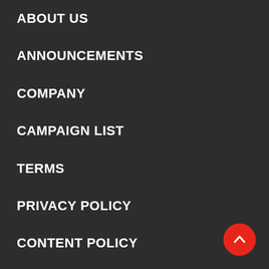ABOUT US
ANNOUNCEMENTS
COMPANY
CAMPAIGN LIST
TERMS
PRIVACY POLICY
CONTENT POLICY
ABOUT LINKS
HELP
CONTACT
[Figure (illustration): Red circular back-to-top button with a white upward chevron arrow, positioned at bottom right]